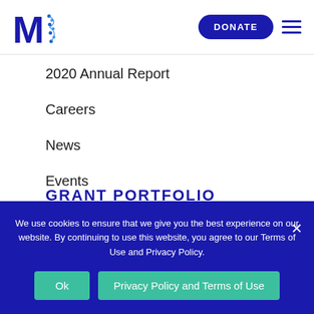M [logo] | DONATE [hamburger menu]
2020 Annual Report
Careers
News
Events
Blog
GRANT PORTFOLIO
We use cookies to ensure that we give you the best experience on our website. By continuing to use this website, you agree to our Terms of Use and Privacy Policy.
Ok | Privacy Policy and Terms of Use